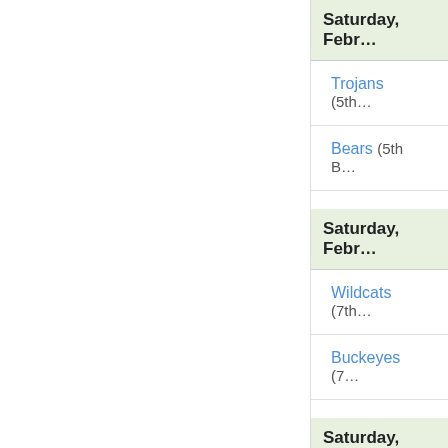Saturday, Febr…
Trojans (5th…
Bears (5th B…
Saturday, Febr…
Wildcats (7th…
Buckeyes (7…
Saturday, Febr…
Longhorns (…
Cowboys (6…
[Figure (screenshot): Advertisement banner for BELK clothing store. Shows 'BELK' brand name, 'Denim all day.' slogan, 'www.belk.com' URL, a product image, close button, and a navigation arrow circle.]